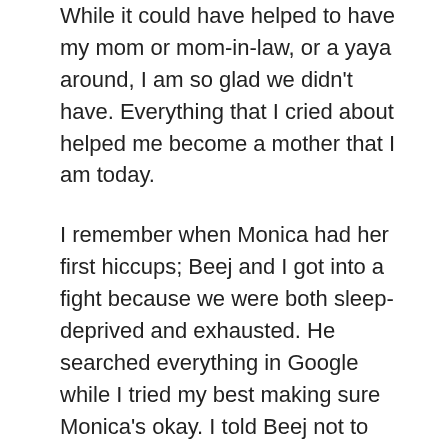While it could have helped to have my mom or mom-in-law, or a yaya around, I am so glad we didn't have. Everything that I cried about helped me become a mother that I am today.
I remember when Monica had her first hiccups; Beej and I got into a fight because we were both sleep-deprived and exhausted. He searched everything in Google while I tried my best making sure Monica's okay. I told Beej not to panic and just go with our instinct. A few minutes later, Monica stopped. YES IT WAS JUST A HICCUP but nobody told us that it is normal for newborns. It looks so trivial now but back then, it almost tested our marriage. Haha.
I remember sleeping at 8pm while Beej takes care of Monica till 12mn then I'll stay awake till morning